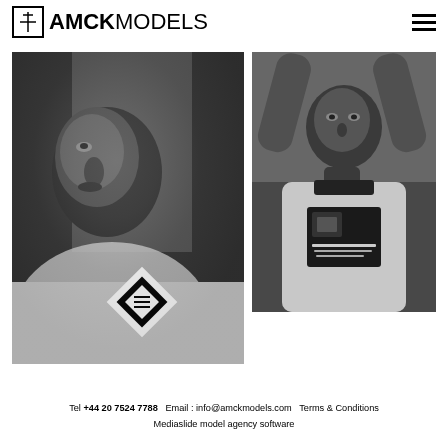AMCK MODELS
[Figure (photo): Black and white close-up portrait of a young male model wearing a light knit sweater with a diamond logo patch, looking at the camera]
[Figure (photo): Black and white photo of a young male model with arms raised behind his head, wearing a light knit sweater with a graphic print, looking upward]
Tel +44 20 7524 7788  Email : info@amckmodels.com  Terms & Conditions  Mediaslide model agency software